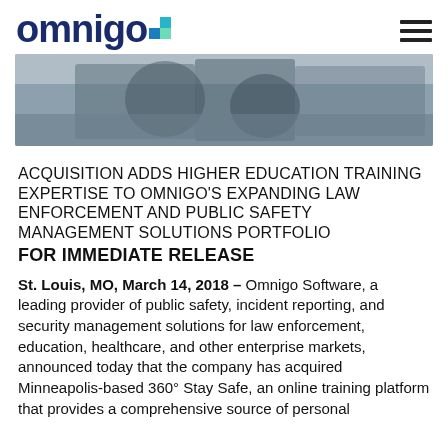omnigo
[Figure (photo): Two people sitting on the ground, one appearing distressed and the other comforting them, photographed from above at an angle.]
ACQUISITION ADDS HIGHER EDUCATION TRAINING EXPERTISE TO OMNIGO'S EXPANDING LAW ENFORCEMENT AND PUBLIC SAFETY MANAGEMENT SOLUTIONS PORTFOLIO
FOR IMMEDIATE RELEASE
St. Louis, MO, March 14, 2018 – Omnigo Software, a leading provider of public safety, incident reporting, and security management solutions for law enforcement, education, healthcare, and other enterprise markets, announced today that the company has acquired Minneapolis-based 360° Stay Safe, an online training platform that provides a comprehensive source of personal